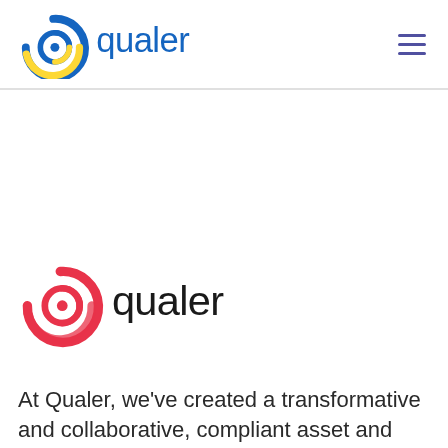qualer (logo with navigation)
[Figure (logo): Qualer logo (pink/red spiral icon with dark text 'qualer') in main content area]
At Qualer, we've created a transformative and collaborative, compliant asset and service